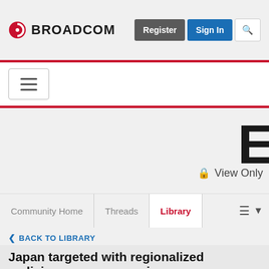BROADCOM — Register | Sign In
[Figure (screenshot): Broadcom logo with red circular icon and bold BROADCOM text]
View Only
Community Home | Threads | Library
BACK TO LIBRARY
Japan targeted with regionalized malicious spam campaigns